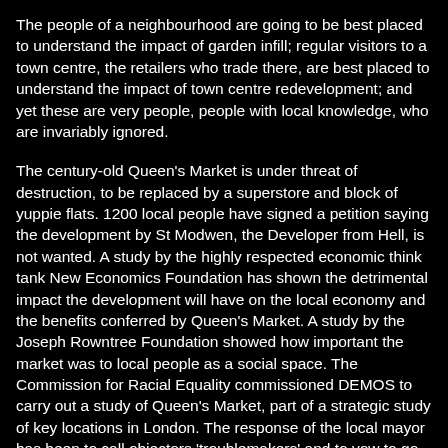The people of a neighbourhood are going to be best placed to understand the impact of garden infill; regular visitors to a town centre, the retailers who trade there, are best placed to understand the impact of town centre redevelopment; and yet these are very people, people with local knowledge, who are invariably ignored.
The century-old Queen's Market is under threat of destruction, to be replaced by a superstore and block of yuppie flats. 1200 local people have signed a petition saying the development by St Modwen, the Developer from Hell, is not wanted. A study by the highly respected economic think tank New Economics Foundation has shown the detrimental impact the development will have on the local economy and the benefits conferred by Queen's Market. A study by the Joseph Rowntree Foundation showed how important the market was to local people as a social space. The Commission for Racial Equality commissioned DEMOS to carry out a study of Queen's Market, part of a strategic study of key locations in London. The response of the local mayor has been to call objectors 'troublemakers' and to vow to go ahead with the scheme, opening the council to a judicial review as clearly there has been no proper consultation, worst still, the development scheme has been predetermined before any planning determination.